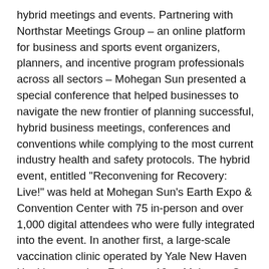hybrid meetings and events. Partnering with Northstar Meetings Group – an online platform for business and sports event organizers, planners, and incentive program professionals across all sectors – Mohegan Sun presented a special conference that helped businesses to navigate the new frontier of planning successful, hybrid business meetings, conferences and conventions while complying to the most current industry health and safety protocols. The hybrid event, entitled "Reconvening for Recovery: Live!" was held at Mohegan Sun's Earth Expo & Convention Center with 75 in-person and over 1,000 digital attendees who were fully integrated into the event. In another first, a large-scale vaccination clinic operated by Yale New Haven Health opened on February 19 at Mohegan Sun on an appointment-only basis for Connecticut residents.
https://meetings.mohegansun.com/.